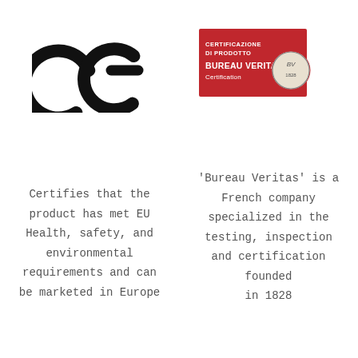[Figure (logo): CE certification mark — large bold black 'C' and 'E' letters]
[Figure (logo): Bureau Veritas Certification logo — red rectangle with white text 'CERTIFICAZIONE DI PRODOTTO BUREAU VERITAS Certification' and a circular emblem on the right]
Certifies that the product has met EU Health, safety, and environmental requirements and can be marketed in Europe
'Bureau Veritas' is a French company specialized in the testing, inspection and certification founded in 1828